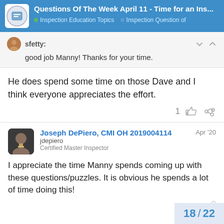Questions Of The Week April 11 - Time for an Ins... | Inspection Education Topics | Inspection Question of
sfetty:
good job Manny! Thanks for your time.
He does spend some time on those Dave and I think everyone appreciates the effort.
Joseph DePiero, CMI OH 2019004114
jdepiero
Certified Master Inspector
Apr '20
I appreciate the time Manny spends coming up with these questions/puzzles. It is obvious he spends a lot of time doing this!